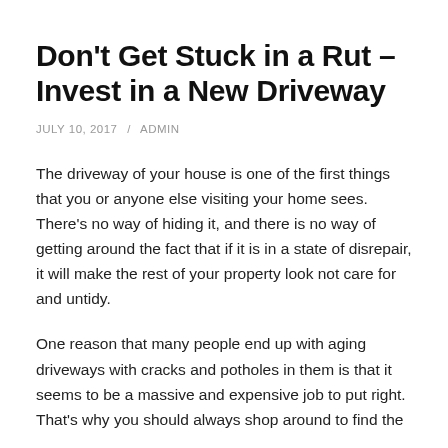Don't Get Stuck in a Rut – Invest in a New Driveway
JULY 10, 2017  /  ADMIN
The driveway of your house is one of the first things that you or anyone else visiting your home sees. There's no way of hiding it, and there is no way of getting around the fact that if it is in a state of disrepair, it will make the rest of your property look not care for and untidy.
One reason that many people end up with aging driveways with cracks and potholes in them is that it seems to be a massive and expensive job to put right. That's why you should always shop around to find the